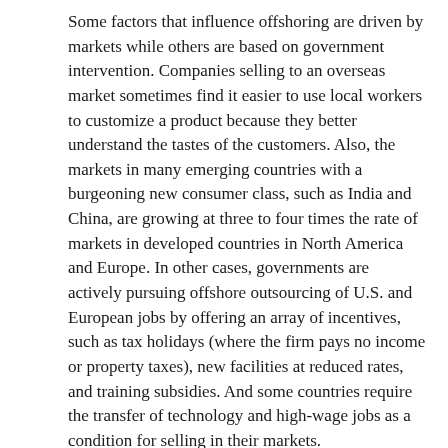Some factors that influence offshoring are driven by markets while others are based on government intervention. Companies selling to an overseas market sometimes find it easier to use local workers to customize a product because they better understand the tastes of the customers. Also, the markets in many emerging countries with a burgeoning new consumer class, such as India and China, are growing at three to four times the rate of markets in developed countries in North America and Europe. In other cases, governments are actively pursuing offshore outsourcing of U.S. and European jobs by offering an array of incentives, such as tax holidays (where the firm pays no income or property taxes), new facilities at reduced rates, and training subsidies. And some countries require the transfer of technology and high-wage jobs as a condition for selling in their markets.
U.S. government tax and immigration policies are actually speeding up offshoring. U.S.-based multinational corporations that outsource work